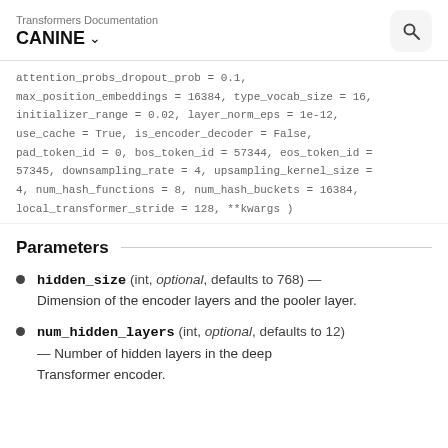Transformers Documentation CANINE
attention_probs_dropout_prob = 0.1, max_position_embeddings = 16384, type_vocab_size = 16, initializer_range = 0.02, layer_norm_eps = 1e-12, use_cache = True, is_encoder_decoder = False, pad_token_id = 0, bos_token_id = 57344, eos_token_id = 57345, downsampling_rate = 4, upsampling_kernel_size = 4, num_hash_functions = 8, num_hash_buckets = 16384, local_transformer_stride = 128, **kwargs )
Parameters
hidden_size (int, optional, defaults to 768) — Dimension of the encoder layers and the pooler layer.
num_hidden_layers (int, optional, defaults to 12) — Number of hidden layers in the deep Transformer encoder.